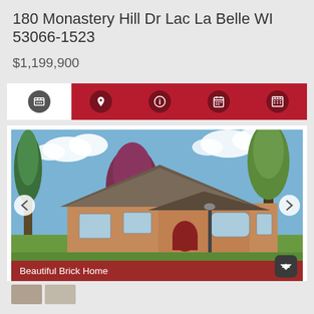180 Monastery Hill Dr Lac La Belle WI 53066-1523
$1,199,900
[Figure (photo): Exterior photo of a beautiful brick ranch-style home with large trees, green lawn, covered porch entry, and blue sky with clouds. Caption reads: Beautiful Brick Home]
Beautiful Brick Home